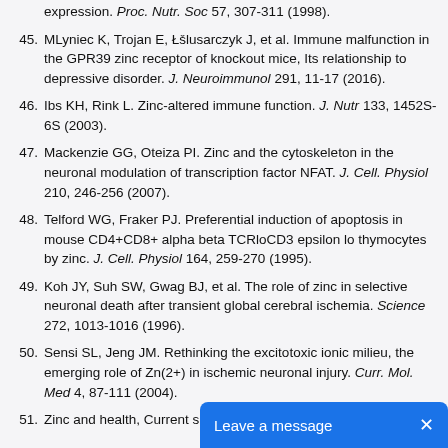expression. Proc. Nutr. Soc 57, 307-311 (1998).
45. MLyniec K, Trojan E, Łšlusarczyk J, et al. Immune malfunction in the GPR39 zinc receptor of knockout mice, Its relationship to depressive disorder. J. Neuroimmunol 291, 11-17 (2016).
46. Ibs KH, Rink L. Zinc-altered immune function. J. Nutr 133, 1452S-6S (2003).
47. Mackenzie GG, Oteiza PI. Zinc and the cytoskeleton in the neuronal modulation of transcription factor NFAT. J. Cell. Physiol 210, 246-256 (2007).
48. Telford WG, Fraker PJ. Preferential induction of apoptosis in mouse CD4+CD8+ alpha beta TCRloCD3 epsilon lo thymocytes by zinc. J. Cell. Physiol 164, 259-270 (1995).
49. Koh JY, Suh SW, Gwag BJ, et al. The role of zinc in selective neuronal death after transient global cerebral ischemia. Science 272, 1013-1016 (1996).
50. Sensi SL, Jeng JM. Rethinking the excitotoxic ionic milieu, the emerging role of Zn(2+) in ischemic neuronal injury. Curr. Mol. Med 4, 87-111 (2004).
51. Zinc and health, Current s...